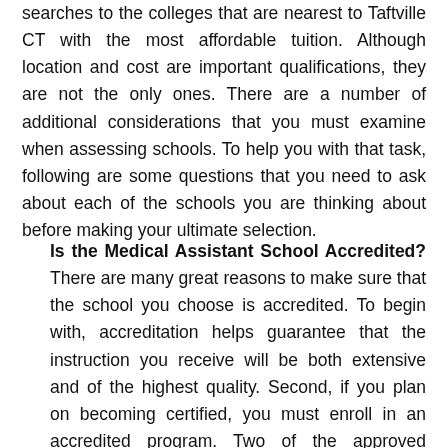searches to the colleges that are nearest to Taftville CT with the most affordable tuition. Although location and cost are important qualifications, they are not the only ones. There are a number of additional considerations that you must examine when assessing schools. To help you with that task, following are some questions that you need to ask about each of the schools you are thinking about before making your ultimate selection.
Is the Medical Assistant School Accredited? There are many great reasons to make sure that the school you choose is accredited. To begin with, accreditation helps guarantee that the instruction you receive will be both extensive and of the highest quality. Second, if you plan on becoming certified, you must enroll in an accredited program. Two of the approved organizations for accreditation are the Commission on Accreditation of Allied Health Education Programs (CAAHEP) and the Accrediting Bureau of Health Education Schools (ABHES)